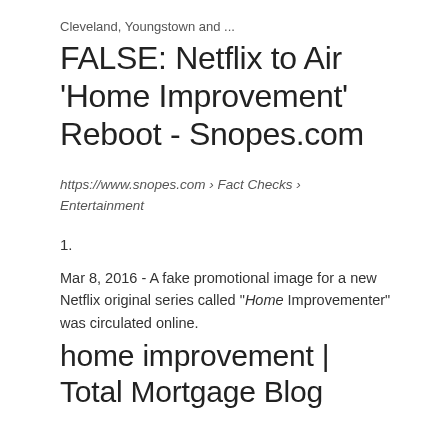Cleveland, Youngstown and ...
FALSE: Netflix to Air 'Home Improvement' Reboot - Snopes.com
https://www.snopes.com › Fact Checks › Entertainment
1.
Mar 8, 2016 - A fake promotional image for a new Netflix original series called "Home Improvementer" was circulated online.
home improvement | Total Mortgage Blog